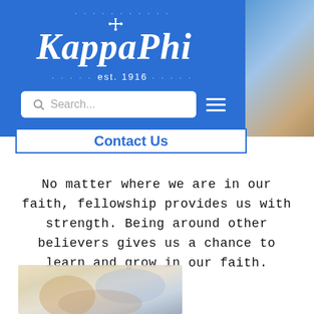[Figure (screenshot): Kappa Phi organization website header with blue background, Kappa Phi est. 1916 logo in white, a search bar, hamburger menu icon, and a 'Contact Us' button bar]
No matter where we are in our faith, fellowship provides us with strength. Being around other believers gives us a chance to learn and grow in our faith.
[Figure (photo): Blurry/out-of-focus photo showing people gathered indoors, partially visible at bottom of page]